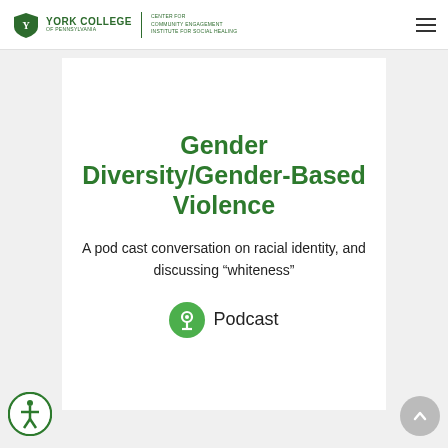York College of Pennsylvania — Center for Community Engagement Institute for Social Healing
Gender Diversity/Gender-Based Violence
A pod cast conversation on racial identity, and discussing “whiteness”
Podcast